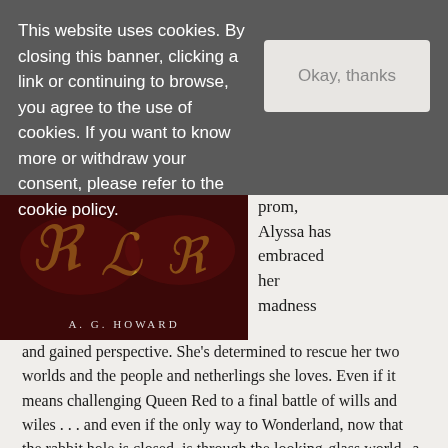This website uses cookies. By closing this banner, clicking a link or continuing to browse, you agree to the use of cookies. If you want to know more or withdraw your consent, please refer to the cookie policy.
[Figure (screenshot): Cookie consent button labeled 'Okay, thanks']
[Figure (photo): Book cover showing decorative gold lettering and 'A. G. HOWARD' text on dark red background]
prom, Alyssa has embraced her madness and gained perspective. She's determined to rescue her two worlds and the people and netherlings she loves. Even if it means challenging Queen Red to a final battle of wills and wiles . . . and even if the only way to Wonderland, now that the rabbit hole is closed, is through the looking-glass world--a parallel dimension filled with mutated and violent netherling outcasts. In the final installment of the wildly popular Splintered trilogy, Alyssa and her dad journey into the heart of magic and mayhem in search of her mom and to set right all that's gone wrong. Together with Jeb and Morpheus, they must salvage Wonderland from the doom and destruction